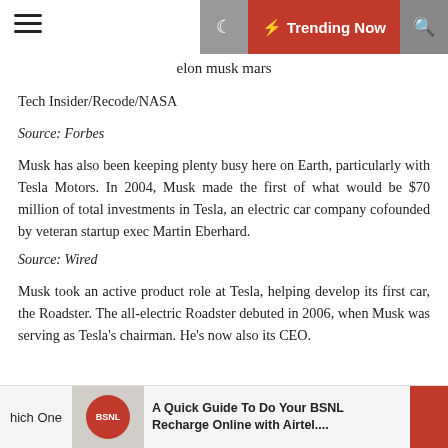Trending Now
elon musk mars
Tech Insider/Recode/NASA
Source: Forbes
Musk has also been keeping plenty busy here on Earth, particularly with Tesla Motors. In 2004, Musk made the first of what would be $70 million of total investments in Tesla, an electric car company cofounded by veteran startup exec Martin Eberhard.
Source: Wired
Musk took an active product role at Tesla, helping develop its first car, the Roadster. The all-electric Roadster debuted in 2006, when Musk was serving as Tesla's chairman. He's now also its CEO.
hich One  A Quick Guide To Do Your BSNL Recharge Online with Airtel....